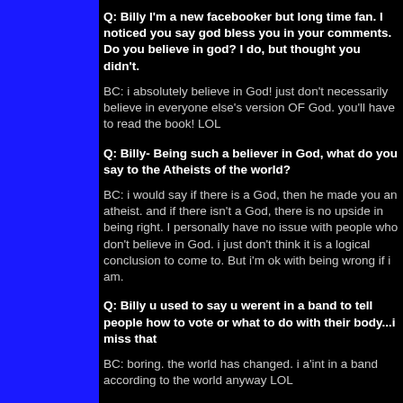Q: Billy I'm a new facebooker but long time fan. I noticed you say god bless you in your comments. Do you believe in god? I do, but thought you didn't.
BC: i absolutely believe in God! just don't necessarily believe in everyone else's version OF God. you'll have to read the book! LOL
Q: Billy- Being such a believer in God, what do you say to the Atheists of the world?
BC: i would say if there is a God, then he made you an atheist. and if there isn't a God, there is no upside in being right. I personally have no issue with people who don't believe in God. i just don't think it is a logical conclusion to come to. But i'm ok with being wrong if i am.
Q: Billy u used to say u werent in a band to tell people how to vote or what to do with their body...i miss that
BC: boring. the world has changed. i a'int in a band according to the world anyway LOL
Q: Billy, is it hard for you to sit back and take a good hard look at the world, only to